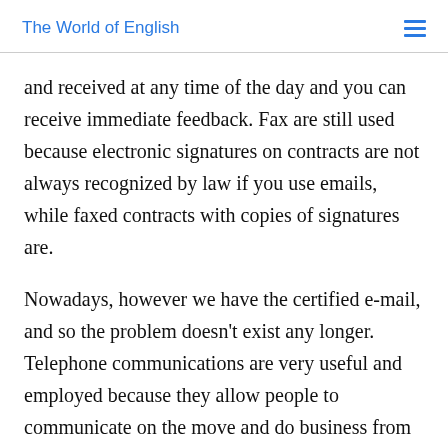The World of English
and received at any time of the day and you can receive immediate feedback. Fax are still used because electronic signatures on contracts are not always recognized by law if you use emails, while faxed contracts with copies of signatures are.
Nowadays, however we have the certified e-mail, and so the problem doesn't exist any longer. Telephone communications are very useful and employed because they allow people to communicate on the move and do business from any location. Nowadays, however, with the development of wireless internet connections and